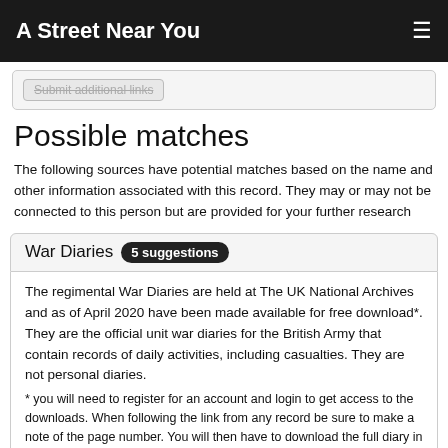A Street Near You
Submit additional links
Possible matches
The following sources have potential matches based on the name and other information associated with this record. They may or may not be connected to this person but are provided for your further research
War Diaries 5 suggestions
The regimental War Diaries are held at The UK National Archives and as of April 2020 have been made available for free download*. They are the official unit war diaries for the British Army that contain records of daily activities, including casualties. They are not personal diaries.
* you will need to register for an account and login to get access to the downloads. When following the link from any record be sure to make a note of the page number. You will then have to download the full diary in